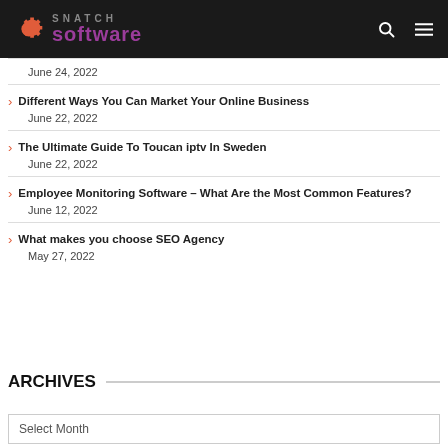SNATCH software
Different Ways You Can Market Your Online Business
June 22, 2022
The Ultimate Guide To Toucan iptv In Sweden
June 22, 2022
Employee Monitoring Software – What Are the Most Common Features?
June 12, 2022
What makes you choose SEO Agency
May 27, 2022
ARCHIVES
Select Month